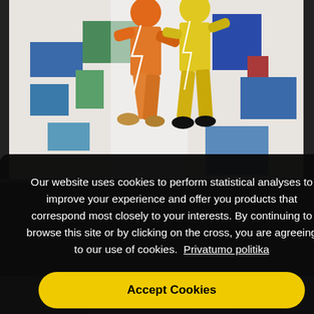[Figure (illustration): Colorful artwork showing two stylized figures — one in orange and one in yellow — against a background of colored geometric shapes (blue, green, white, red rectangles). The figures appear to be walking or running.]
Our website uses cookies to perform statistical analyses to improve your experience and offer you products that correspond most closely to your interests. By continuing to browse this site or by clicking on the cross, you are agreeing to our use of cookies.  Privatumo politika
Accept Cookies
[Figure (photo): Bottom strip showing partial thumbnail images of artworks.]